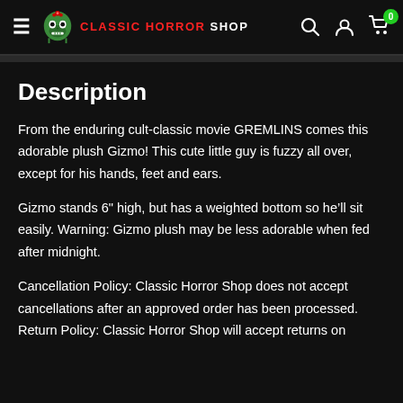Classic Horror Shop — navigation header with hamburger menu, logo, search, account, and cart icons
Description
From the enduring cult-classic movie GREMLINS comes this adorable plush Gizmo! This cute little guy is fuzzy all over, except for his hands, feet and ears.
Gizmo stands 6" high, but has a weighted bottom so he'll sit easily. Warning: Gizmo plush may be less adorable when fed after midnight.
Cancellation Policy: Classic Horror Shop does not accept cancellations after an approved order has been processed. Return Policy: Classic Horror Shop will accept returns on